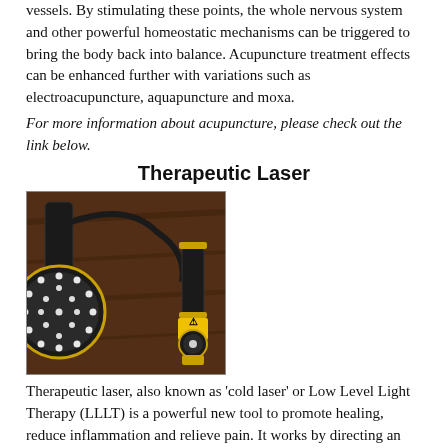vessels.  By stimulating these points, the whole nervous system and other powerful homeostatic mechanisms can be triggered to bring the body back into balance. Acupuncture treatment effects can be enhanced further with variations such as electroacupuncture, aquapuncture and moxa.
For more information about acupuncture, please check out the link below.
Therapeutic Laser
[Figure (photo): A therapeutic laser device with two handheld probes against a dark wooden background. One probe has a circular array of LED/laser diodes, and the other is a smaller cylindrical probe with a yellow warning label.]
Therapeutic laser, also known as 'cold laser' or Low Level Light Therapy (LLLT) is a powerful new tool to promote healing, reduce inflammation and relieve pain.  It works by directing an intense light of specific wavelength that has been shown to enhance the body's own